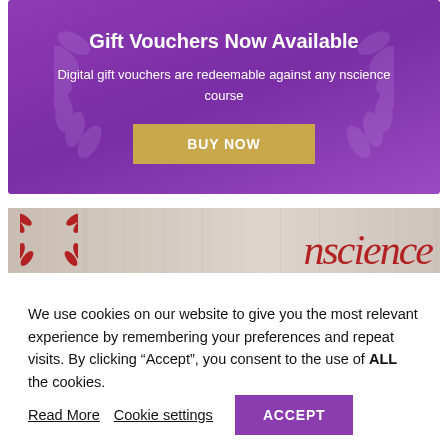[Figure (illustration): Purple banner with laurel wreath watermark background showing gift voucher promotion for nscience. Contains title 'Gift Vouchers Now Available', subtitle text, and a gold BUY NOW button.]
Gift Vouchers Now Available
Digital gift vouchers are redeemable against any nscience course
[Figure (photo): Partial photo of nscience building/signage showing red cursive 'nscience' logo text with red laurel wreath emblem on a light beige/cream building exterior background.]
We use cookies on our website to give you the most relevant experience by remembering your preferences and repeat visits. By clicking “Accept”, you consent to the use of ALL the cookies.
Read More   Cookie settings   ACCEPT